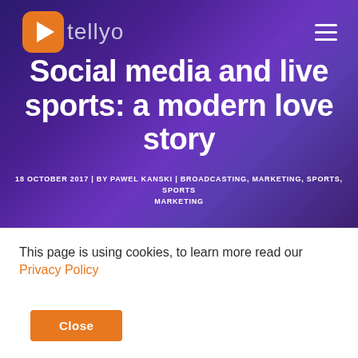[Figure (logo): Tellyo logo: orange play button icon and grey 'tellyo' wordmark on dark purple background]
Social media and live sports: a modern love story
18 OCTOBER 2017 | BY PAWEL KANSKI | BROADCASTING, MARKETING, SPORTS, SPORTS MARKETING
This page is using cookies, to learn more read our Privacy Policy
Close